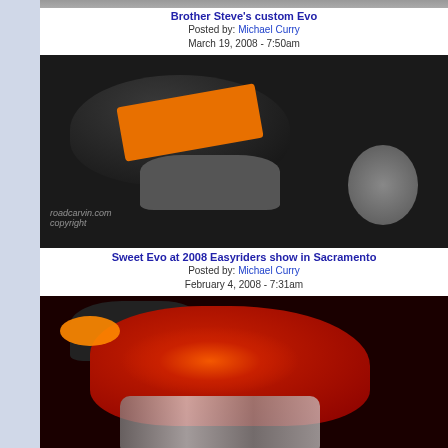[Figure (photo): Partial view of motorcycle at top of page]
Brother Steve's custom Evo
Posted by: Michael Curry
March 19, 2008 - 7:50am
[Figure (photo): Close-up of black custom Evo motorcycle with orange stripe on tank at 2008 show, roadcarvin.com watermark]
Sweet Evo at 2008 Easyriders show in Sacramento
Posted by: Michael Curry
February 4, 2008 - 7:31am
[Figure (photo): Close-up of red flame-painted custom motorcycle at show, partial view]